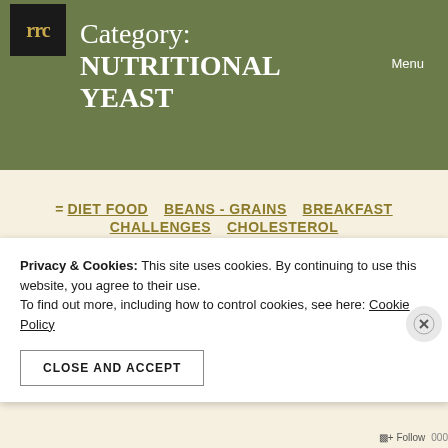Menu
Category: NUTRITIONAL YEAST
= DIET FOOD  BEANS - GRAINS  BREAKFAST  CHALLENGES  CHOLESTEROL  FAT TO THE TEST  STEVE  FRUIT
Privacy & Cookies: This site uses cookies. By continuing to use this website, you agree to their use.
To find out more, including how to control cookies, see here: Cookie Policy
CLOSE AND ACCEPT